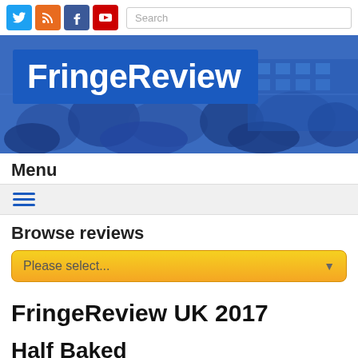FringeReview — social icons: Twitter, RSS, Facebook, YouTube; Search box
[Figure (screenshot): FringeReview website header banner with blue-tinted crowd photograph background and 'FringeReview' logo in white text on dark blue rectangle]
Menu
[Figure (other): Hamburger menu icon (three horizontal blue lines)]
Browse reviews
[Figure (other): Yellow dropdown selector reading 'Please select...']
FringeReview UK 2017
Half Baked